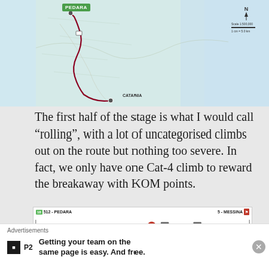[Figure (map): Road map showing route from Pedara area near Catania, Sicily, with a dark red/maroon route line winding along the coast. Green label 'PEDARA' in top area, 'CATANIA' label near bottom, north arrow and scale bar at top right.]
The first half of the stage is what I would call “rolling”, with a lot of uncategorised climbs out on the route but nothing too severe. In fact, we only have one Cat-4 climb to reward the breakaway with KOM points.
[Figure (other): Stage elevation profile showing route from 512 - PEDARA to 5 - MESSINA. Profile shows a mountain peak in the left-center portion of the route with various intermediate waypoints labeled vertically along the bottom. TV and Radio icons mark certain points along the route.]
Advertisements
Getting your team on the same page is easy. And free.